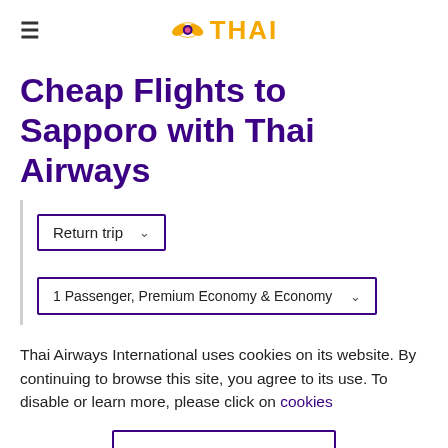THAI Airways logo header with hamburger menu
Cheap Flights to Sapporo with Thai Airways
Return trip (dropdown)
1 Passenger, Premium Economy & Economy (dropdown)
Thai Airways International uses cookies on its website. By continuing to browse this site, you agree to its use. To disable or learn more, please click on cookies
OK